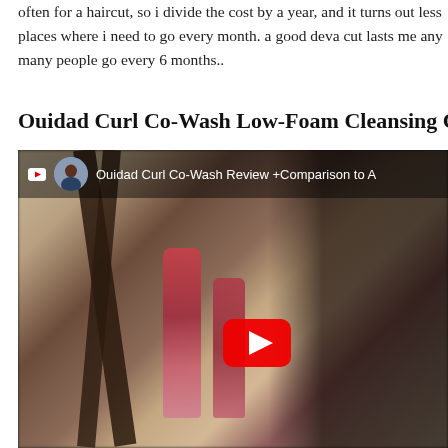often for a haircut, so i divide the cost by a year, and it turns out less places where i need to go every month. a good deva cut lasts me any many people go every 6 months..
Ouidad Curl Co-Wash Low-Foam Cleansing Condition
[Figure (screenshot): YouTube video thumbnail/embed showing a woman with curly hair holding hair product bottles (red/pink), with YouTube play button overlay. Video title reads: 'Ouidad Curl Co-Wash Review +Comparison to A']